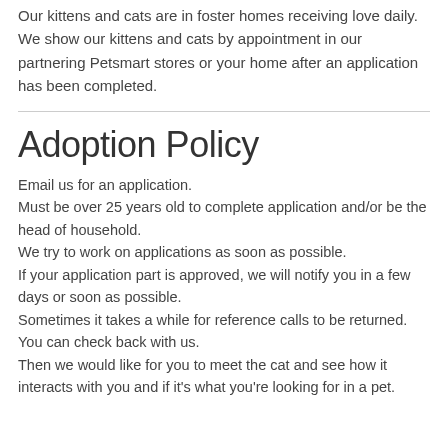Our kittens and cats are in foster homes receiving love daily. We show our kittens and cats by appointment in our partnering Petsmart stores or your home after an application has been completed.
Adoption Policy
Email us for an application.
Must be over 25 years old to complete application and/or be the head of household.
We try to work on applications as soon as possible.
If your application part is approved, we will notify you in a few days or soon as possible.
Sometimes it takes a while for reference calls to be returned. You can check back with us.
Then we would like for you to meet the cat and see how it interacts with you and if it's what you're looking for in a pet.